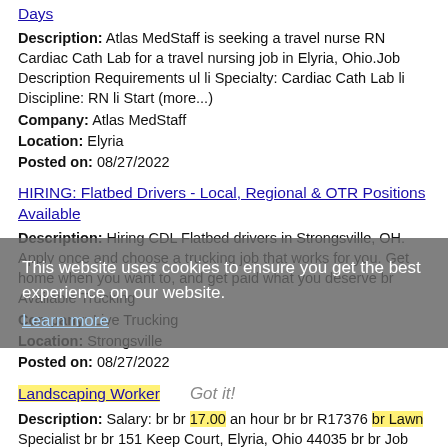Days
Description: Atlas MedStaff is seeking a travel nurse RN Cardiac Cath Lab for a travel nursing job in Elyria, Ohio.Job Description Requirements ul li Specialty: Cardiac Cath Lab li Discipline: RN li Start (more...)
Company: Atlas MedStaff
Location: Elyria
Posted on: 08/27/2022
HIRING: Flatbed Drivers - Local, Regional & OTR Positions Available
Description: Hiring CDL Flatbed drivers in Strongsville, OH. Apply once and choose a trucking job that works for you. Get home when you want to, and get paid what you deserve br Available Trucking
Company: Live Trucking
Location: Strongsville
Posted on: 08/27/2022
This website uses cookies to ensure you get the best experience on our website.
Learn more
Got it!
Landscaping Worker
Description: Salary: br br 17.00 an hour br br R17376 br Lawn Specialist br br 151 Keep Court, Elyria, Ohio 44035 br br Job Description br br Do you like being outdoors Do you like a job where (more...)